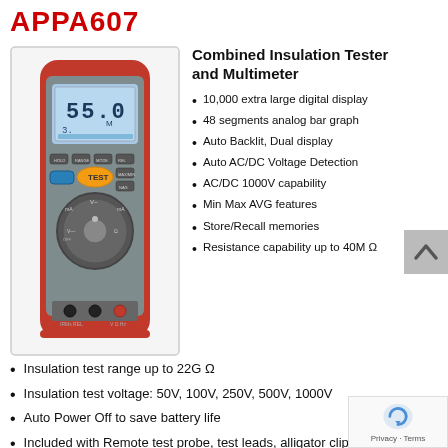APPA607
[Figure (photo): Photo of APPA607 Combined Insulation Tester and Multimeter device — red and grey handheld meter with digital LCD display showing '55.0', analog bar graph, rotary selector dial, yellow TEST button, and test lead ports at bottom.]
Combined Insulation Tester and Multimeter
10,000 extra large digital display
48 segments analog bar graph
Auto Backlit, Dual display
Auto AC/DC Voltage Detection
AC/DC 1000V capability
Min Max AVG features
Store/Recall memories
Resistance capability up to 40MΩ
Insulation test range up to 22G Ω
Insulation test voltage: 50V, 100V, 250V, 500V, 1000V
Auto Power Off to save battery life
Included with Remote test probe, test leads, alligator clips and magnetic hanging kit.